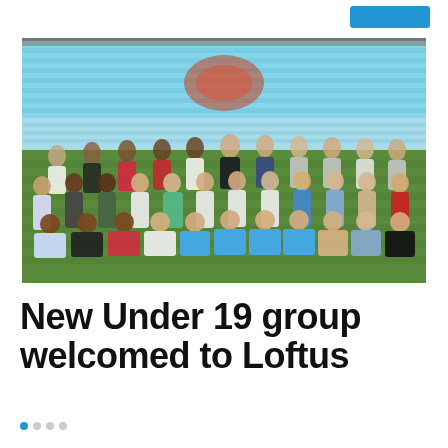[Figure (photo): Group photo of young rugby players (Under 19 group) posing on the pitch at Loftus Versfeld stadium in Pretoria, South Africa. The stadium's characteristic bright blue/cyan seats are visible in the background. The group of approximately 35 young men are arranged in three rows on the grass field.]
New Under 19 group welcomed to Loftus